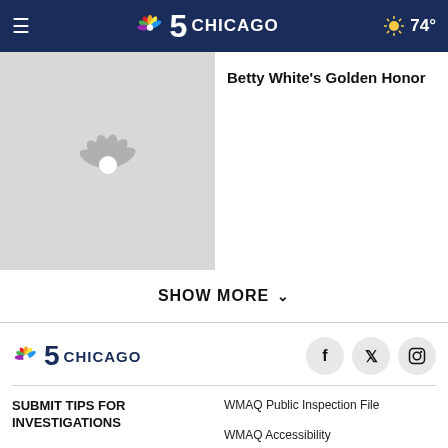NBC 5 Chicago — 74°
[Figure (screenshot): NBC logo placeholder thumbnail (gray background with white peacock logo)]
Betty White's Golden Honor
SHOW MORE
[Figure (logo): NBC 5 Chicago footer logo]
SUBMIT TIPS FOR INVESTIGATIONS
NEWSLETTERS
CONNECT WITH US
WMAQ Public Inspection File
WMAQ Accessibility
WMAQ Employment Information
Send Feedback
FCC Applications